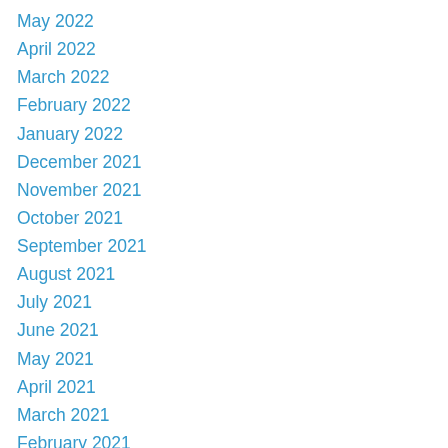May 2022
April 2022
March 2022
February 2022
January 2022
December 2021
November 2021
October 2021
September 2021
August 2021
July 2021
June 2021
May 2021
April 2021
March 2021
February 2021
January 2021
October 2020
July 2020
June 2020